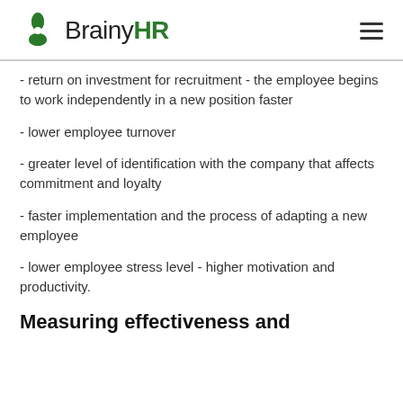BrainyHR
- return on investment for recruitment - the employee begins to work independently in a new position faster
- lower employee turnover
- greater level of identification with the company that affects commitment and loyalty
- faster implementation and the process of adapting a new employee
- lower employee stress level - higher motivation and productivity.
Measuring effectiveness and